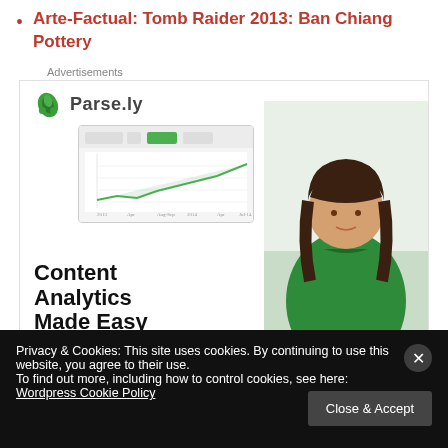Arte-Factual: Tomb Raider 2013: Ban Chiang Pottery
Advertisements
[Figure (screenshot): Parse.ly advertisement banner showing a woman in a green sweater, a dashboard screenshot with a line chart, and the headline 'Content Analytics Made Easy']
Privacy & Cookies: This site uses cookies. By continuing to use this website, you agree to their use.
To find out more, including how to control cookies, see here: Wordpress Cookie Policy